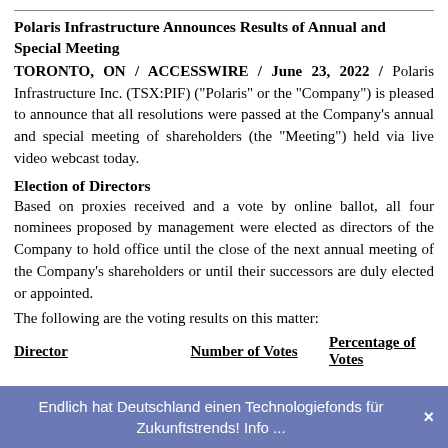Polaris Infrastructure Announces Results of Annual and Special Meeting
TORONTO, ON / ACCESSWIRE / June 23, 2022 / Polaris Infrastructure Inc. (TSX:PIF) ("Polaris" or the "Company") is pleased to announce that all resolutions were passed at the Company's annual and special meeting of shareholders (the "Meeting") held via live video webcast today.
Election of Directors
Based on proxies received and a vote by online ballot, all four nominees proposed by management were elected as directors of the Company to hold office until the close of the next annual meeting of the Company's shareholders or until their successors are duly elected or appointed.
The following are the voting results on this matter:
| Director | Number of Votes | Percentage of Votes |
| --- | --- | --- |
Endlich hat Deutschland einen Technologiefonds für Zukunftstrends! Info ...